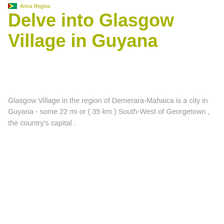Anna Regina
Delve into Glasgow Village in Guyana
Glasgow Village in the region of Demerara-Mahaica is a city in Guyana - some 22 mi or ( 35 km ) South-West of Georgetown , the country's capital .